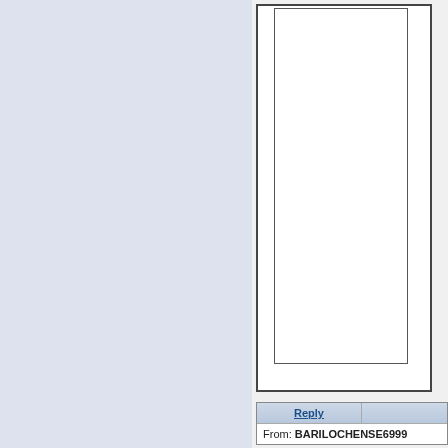[Figure (screenshot): Screenshot of an email client or web interface. Left panel has a light blue-gray background. Right panel shows a white document page inside a bordered frame. At the bottom right is a table with a Reply button header row and a From field showing BARILOCHENSE6999.]
| Reply |  |
| --- | --- |
| From: BARILOCHENSE6999 |  |